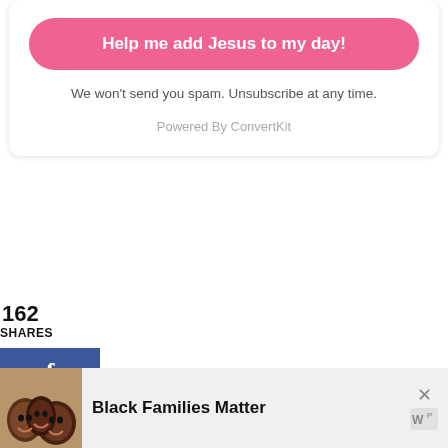Help me add Jesus to my day!
We won't send you spam. Unsubscribe at any time.
Powered By ConvertKit
162
SHARES
f 58
Twitter icon
104
[Figure (photo): Three smiling people lying down, photo for Black Families Matter ad]
Black Families Matter